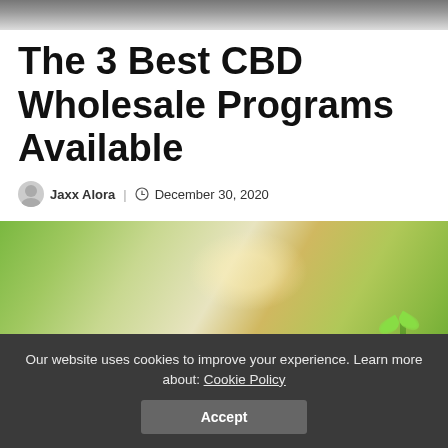[Figure (photo): Top portion of a photo showing people, cropped at the top of the page]
The 3 Best CBD Wholesale Programs Available
Jaxx Alora | December 30, 2020
[Figure (photo): Blurred green nature/plant background with a small green seedling sprout visible on the right side]
Our website uses cookies to improve your experience. Learn more about: Cookie Policy
Accept